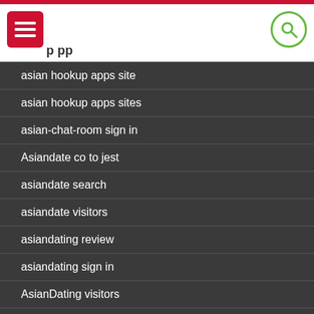asian hookup apps site
asian hookup apps sites
asian-chat-room sign in
Asiandate co to jest
asiandate search
asiandate visitors
asiandating review
asiandating sign in
AsianDating visitors
asiatische-dating-sites visitors
aspergers-dating dating
aspergers-dating review
Atheist Dating app